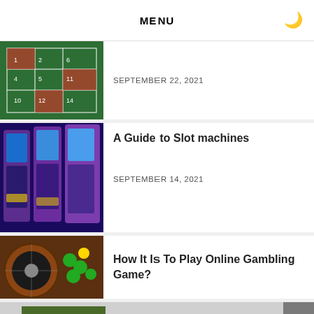MENU
SEPTEMBER 22, 2021
[Figure (photo): Roulette table with green felt and numbers]
A Guide to Slot machines
SEPTEMBER 14, 2021
[Figure (photo): Row of colorful slot machines with purple frames]
How It Is To Play Online Gambling Game?
[Figure (photo): Roulette wheel with casino chips]
[Figure (photo): Yellow excavator construction machine]
Top 3 Popular Machines You Need to Rent for Your Construction Project